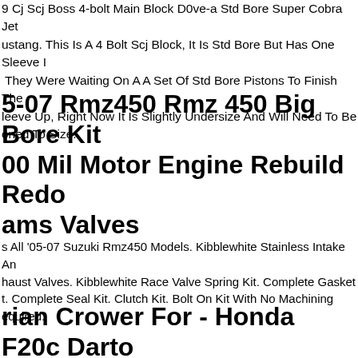9 Cj Scj Boss 4-bolt Main Block D0ve-a Std Bore Super Cobra Jet Mustang. This Is A 4 Bolt Scj Block, It Is Std Bore But Has One Sleeve In They Were Waiting On A A Set Of Std Bore Pistons To Finish The Sleeve Up, Right Now It Is Slightly Undersize And Will Need To Be Honed To Size.
05-07 Rmz450 Rmz 450 Big Bore Kit 500 Mil Motor Engine Rebuild Redo Cams Valves
Fits All '05-07 Suzuki Rmz450 Models. Kibblewhite Stainless Intake And Exhaust Valves. Kibblewhite Race Valve Spring Kit. Complete Gasket Kit. Complete Seal Kit. Clutch Kit. Bolt On Kit With No Machining Required.
Brian Crower For - Honda F20c Darton M.i.d. Block Sleeves (87mm To 89mm